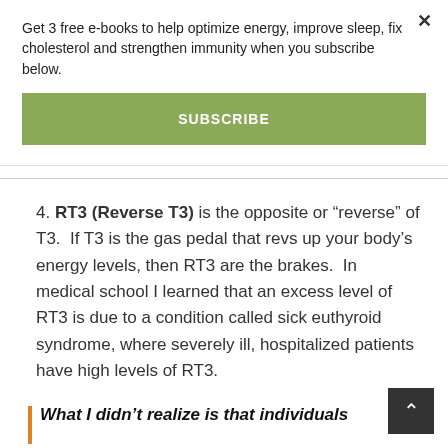Get 3 free e-books to help optimize energy, improve sleep, fix cholesterol and strengthen immunity when you subscribe below.
SUBSCRIBE
4. RT3 (Reverse T3) is the opposite or “reverse” of T3. If T3 is the gas pedal that revs up your body’s energy levels, then RT3 are the brakes. In medical school I learned that an excess level of RT3 is due to a condition called sick euthyroid syndrome, where severely ill, hospitalized patients have high levels of RT3.
What I didn’t realize is that individuals